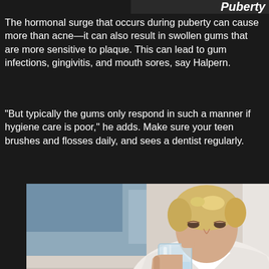Puberty
The hormonal surge that occurs during puberty can cause more than acne—it can also result in swollen gums that are more sensitive to plaque. This can lead to gum infections, gingivitis, and mouth sores, say Halpern.
"But typically the gums only respond in such a manner if hygiene care is poor," he adds. Make sure your teen brushes and flosses daily, and sees a dentist regularly.
[Figure (photo): A woman with short blonde hair drinking from a clear glass of water, wearing a white blazer, with a light wall background]